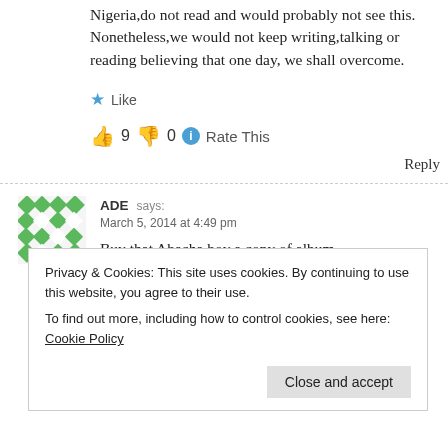Nigeria,do not read and would probably not see this. Nonetheless,we would not keep writing,talking or reading believing that one day, we shall overcome.
Like
👍 9 👎 0 ℹ Rate This
Reply
ADE says: March 5, 2014 at 4:49 pm
Buy that Abacha boy a copy of album
released by Orlando Owoh when Abacha ... Abacha Tabule wa, mo miti ... village. I got drunk I nearly pee on my bed. Thank you Ayo. THis will teach him how to keep quiet next time.
Privacy & Cookies: This site uses cookies. By continuing to use this website, you agree to their use. To find out more, including how to control cookies, see here: Cookie Policy
Close and accept